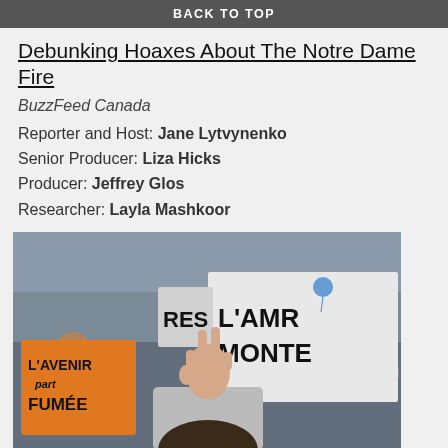BACK TO TOP
Debunking Hoaxes About The Notre Dame Fire
BuzzFeed Canada
Reporter and Host: Jane Lytvynenko
Senior Producer: Liza Hicks
Producer: Jeffrey Glos
Researcher: Layla Mashkoor
[Figure (photo): Crowd at a protest/demonstration holding signs. Visible signs read 'L'AVENIR (part) FUMEE' on an orange cardboard sign, 'L'AMR MONTE' on a large white banner, and 'RES' partially visible. A young person raises a peace/victory sign with their hand in the foreground.]